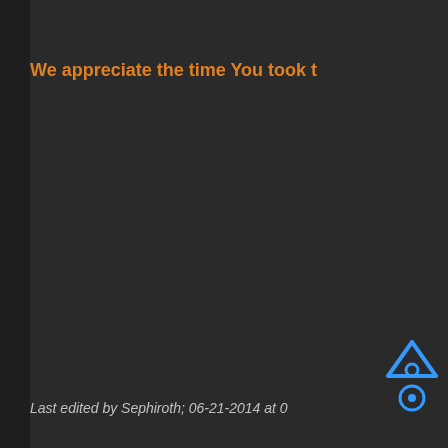We appreciate the time You took t
Last edited by Sephiroth; 06-21-2014 at 0
[Figure (logo): Blue triangular/diamond icon with circle elements, possibly a game or forum logo]